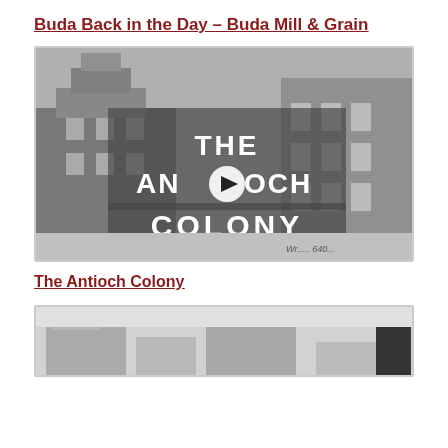Buda Back in the Day – Buda Mill & Grain
[Figure (screenshot): Video thumbnail showing historical black and white photograph of buildings with overlay text reading THE ANTIOCH COLONY with a play button in the center]
The Antioch Colony
[Figure (photo): Partial view of a black and white historical photograph showing old buildings, cropped at bottom of page]